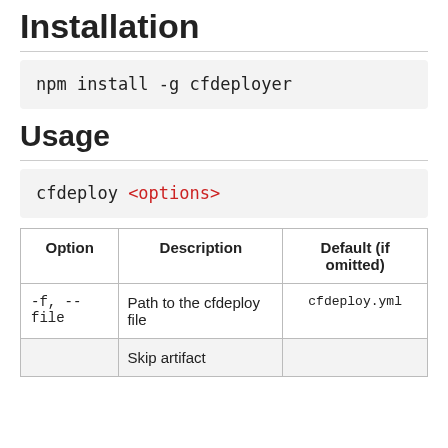Installation
npm install -g cfdeployer
Usage
cfdeploy <options>
| Option | Description | Default (if omitted) |
| --- | --- | --- |
| -f, --file | Path to the cfdeploy file | cfdeploy.yml |
|  | Skip artifact |  |